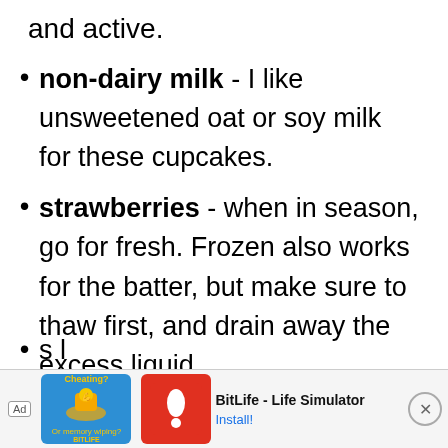and active.
non-dairy milk - I like unsweetened oat or soy milk for these cupcakes.
strawberries - when in season, go for fresh. Frozen also works for the batter, but make sure to thaw first, and drain away the excess liquid.
...s l
[Figure (screenshot): Advertisement banner for BitLife - Life Simulator app with blue and red icons, Cheating? text, Ad label, and Install button]